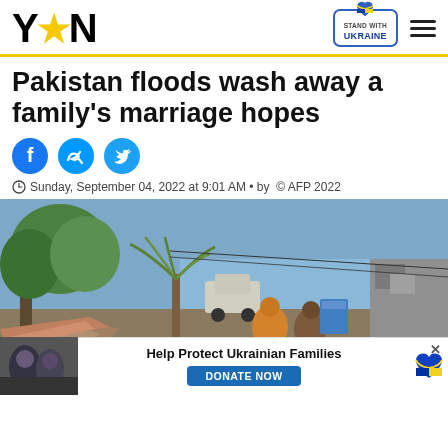[Figure (logo): YEN logo with yellow star replacing letter A]
[Figure (infographic): Stand With Ukraine badge with blue heart and Ukrainian flag colors, and hamburger menu icon]
Pakistan floods wash away a family's marriage hopes
[Figure (infographic): Social sharing icons: Facebook, Messenger, Twitter]
Sunday, September 04, 2022 at 9:01 AM  •  by  © AFP 2022
[Figure (photo): Flood scene in Pakistan showing displaced people with belongings amid debris, palm tree and water visible in background, vehicle parked nearby]
[Figure (infographic): Advertisement banner: Help Protect Ukrainian Families - DONATE NOW button with Ukraine heart logo, and a thumbnail image of people]